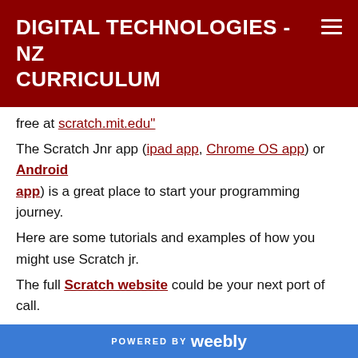DIGITAL TECHNOLOGIES - NZ CURRICULUM
free at scratch.mit.edu"
The Scratch Jnr app (ipad app, Chrome OS app or Android app) is a great place to start your programming journey.
Here are some tutorials and examples of how you might use Scratch jr.
The full Scratch website could be your next port of call.
Scratch has been upgraded to 3.0  Unlike the old Scratch, the new version will work on ipads (ios 11+)  in a browser as well as on a computer as it doesn't use Flash. It also has new blocks like speech to text and blocks to support Makey Makeys, Micro:bits and WeDo Lego.
POWERED BY weebly